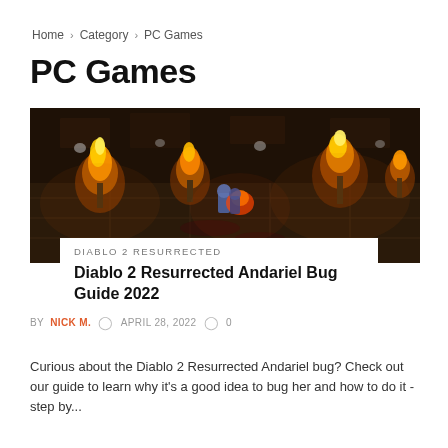Home > Category > PC Games
PC Games
[Figure (screenshot): Diablo 2 Resurrected game screenshot showing isometric view of dungeon with fire torches and characters in combat]
DIABLO 2 RESURRECTED
Diablo 2 Resurrected Andariel Bug Guide 2022
BY NICK M.   APRIL 28, 2022   0
Curious about the Diablo 2 Resurrected Andariel bug? Check out our guide to learn why it's a good idea to bug her and how to do it - step by...